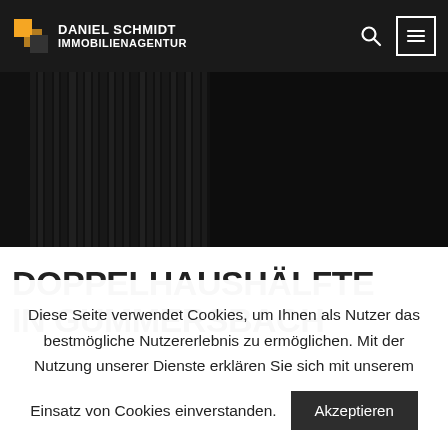DANIEL SCHMIDT IMMOBILIENAGENTUR
[Figure (photo): Dark abstract photo of vertical architectural elements, low-key black and white tones]
DOPPELHAUSHÄLFTE IN GUMMERSBACH
Diese Seite verwendet Cookies, um Ihnen als Nutzer das bestmögliche Nutzererlebnis zu ermöglichen. Mit der Nutzung unserer Dienste erklären Sie sich mit unserem Einsatz von Cookies einverstanden.